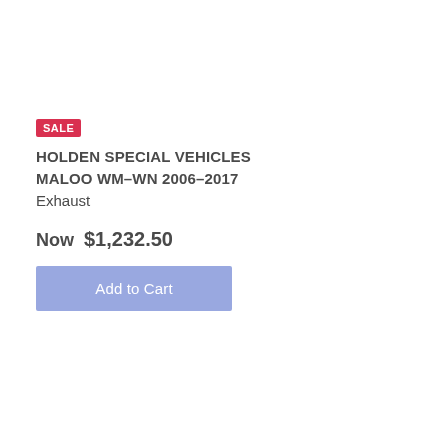SALE
HOLDEN SPECIAL VEHICLES MALOO WM-WN 2006-2017 Exhaust
Now  $1,232.50
Add to Cart